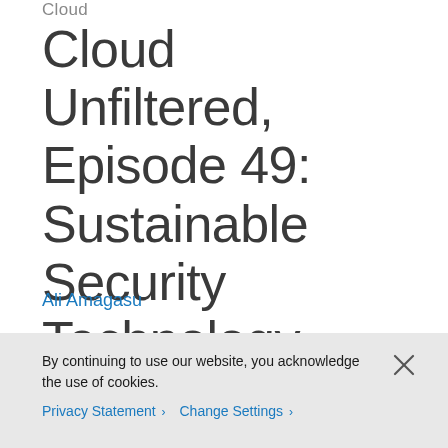Cloud
Cloud Unfiltered, Episode 49: Sustainable Security Technology, with Patrick Crowley
Ali Amagasu
By continuing to use our website, you acknowledge the use of cookies.
Privacy Statement > Change Settings >